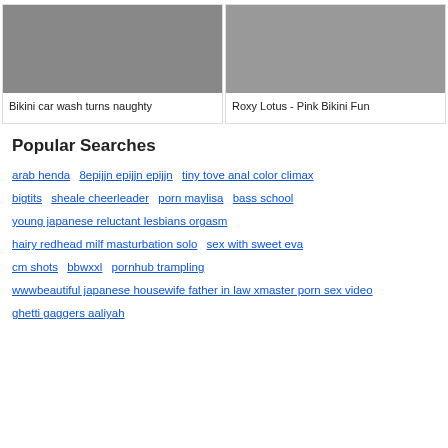[Figure (photo): Two women in bikinis and an older man seated on a couch]
Bikini car wash turns naughty
[Figure (photo): Close-up adult content image]
Roxy Lotus - Pink Bikini Fun
Popular Searches
arab henda
8epijjn epijjn epijjn
tiny tove anal color climax
bigtits
sheale cheerleader
porn maylisa
bass school
young japanese reluctant lesbians orgasm
hairy redhead milf masturbation solo
sex with sweet eva
cm shots
bbwxxl
pornhub trampling
wwwbeautiful japanese housewife father in law xmaster porn sex video
ghetti gaggers aaliyah